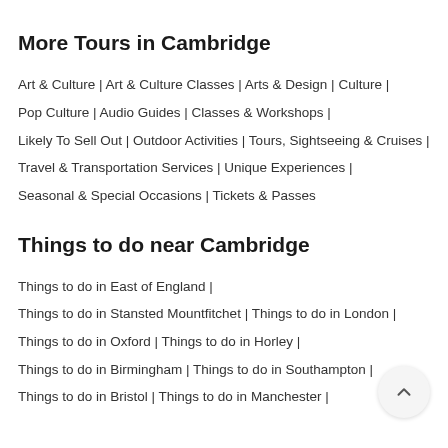More Tours in Cambridge
Art & Culture | Art & Culture Classes | Arts & Design | Culture | Pop Culture | Audio Guides | Classes & Workshops | Likely To Sell Out | Outdoor Activities | Tours, Sightseeing & Cruises | Travel & Transportation Services | Unique Experiences | Seasonal & Special Occasions | Tickets & Passes
Things to do near Cambridge
Things to do in East of England | Things to do in Stansted Mountfitchet | Things to do in London | Things to do in Oxford | Things to do in Horley | Things to do in Birmingham | Things to do in Southampton | Things to do in Bristol | Things to do in Manchester |